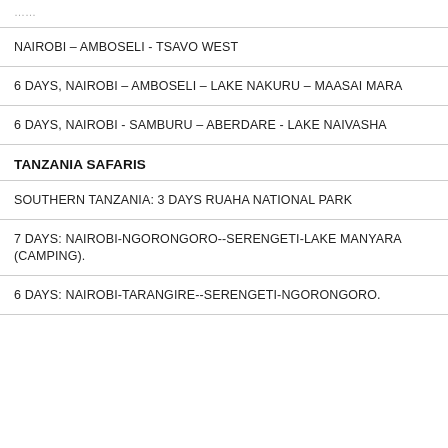NAIROBI – AMBOSELI - TSAVO WEST
6 DAYS, NAIROBI – AMBOSELI – LAKE NAKURU – MAASAI MARA
6 DAYS, NAIROBI - SAMBURU – ABERDARE - LAKE NAIVASHA
TANZANIA SAFARIS
SOUTHERN TANZANIA: 3 DAYS RUAHA NATIONAL PARK
7 DAYS: NAIROBI-NGORONGORO--SERENGETI-LAKE MANYARA (CAMPING).
6 DAYS: NAIROBI-TARANGIRE--SERENGETI-NGORONGORO.